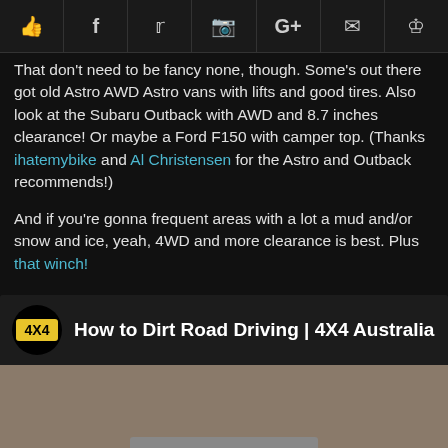[Figure (other): Social sharing icons bar: thumbs up (like), Facebook, Twitter, Reddit, Google+, email, crown/bookmark]
That don't need to be fancy none, though. Some's out there got old Astro AWD Astro vans with lifts and good tires. Also look at the Subaru Outback with AWD and 8.7 inches clearance! Or maybe a Ford F150 with camper top. (Thanks ihatemybike and Al Christensen for the Astro and Outback recommends!)
And if you're gonna frequent areas with a lot a mud and/or snow and ice, yeah, 4WD and more clearance is best. Plus that winch!
[Figure (screenshot): Embedded YouTube video thumbnail: 'How to Dirt Road Driving | 4X4 Australia' showing a 4WD vehicle from behind on a dirt road with a YouTube play button overlay]